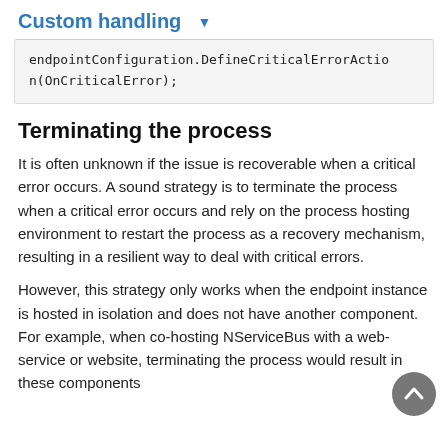Custom handling ▾
[Figure (screenshot): Code block showing: endpointConfiguration.DefineCriticalErrorAction(OnCriticalError);]
Terminating the process
It is often unknown if the issue is recoverable when a critical error occurs. A sound strategy is to terminate the process when a critical error occurs and rely on the process hosting environment to restart the process as a recovery mechanism, resulting in a resilient way to deal with critical errors.
However, this strategy only works when the endpoint instance is hosted in isolation and does not have another component. For example, when co-hosting NServiceBus with a web-service or website, terminating the process would result in these components